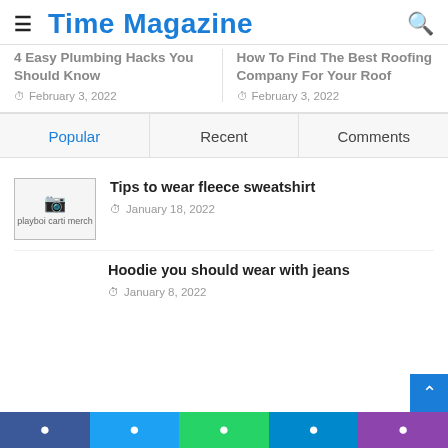Time Magazine
4 Easy Plumbing Hacks You Should Know — February 3, 2022
How To Find The Best Roofing Company For Your Roof — February 3, 2022
Popular | Recent | Comments
Tips to wear fleece sweatshirt — January 18, 2022
Hoodie you should wear with jeans — January 8, 2022
Facebook Twitter WhatsApp Telegram Phone